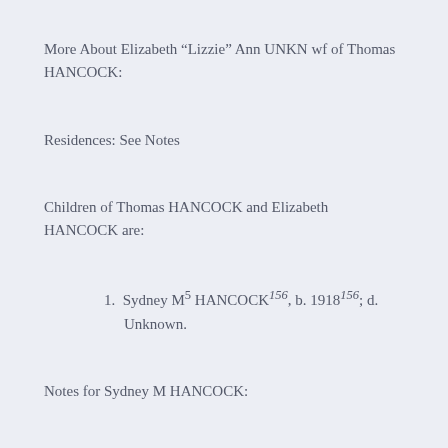More About Elizabeth “Lizzie” Ann UNKN wf of Thomas HANCOCK:
Residences: See Notes
Children of Thomas HANCOCK and Elizabeth HANCOCK are:
1. Sydney M5 HANCOCK156, b. 1918156; d. Unknown.
Notes for Sydney M HANCOCK:
Addresses